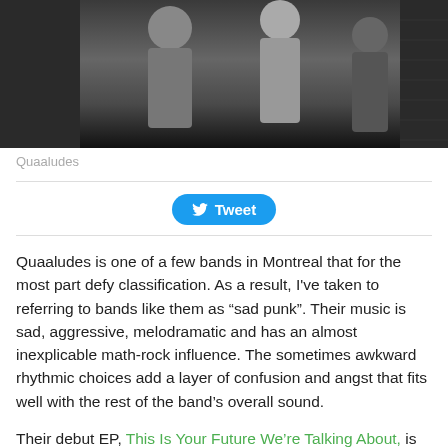[Figure (photo): Black and white photo of the band Quaaludes against a wall]
Quaaludes
[Figure (other): Tweet button]
Quaaludes is one of a few bands in Montreal that for the most part defy classification.  As a result, I've taken to referring to bands like them as “sad punk”. Their music is sad, aggressive, melodramatic and has an almost inexplicable math-rock influence. The sometimes awkward rhythmic choices add a layer of confusion and angst that fits well with the rest of the band’s overall sound.
Their debut EP, This Is Your Future We’re Talking About, is short and consistent. Each of its five tracks rarely step outside of their relatively original sound, making its short running time somewhat of a relief. Its opening track, Mr.Transistor, starting